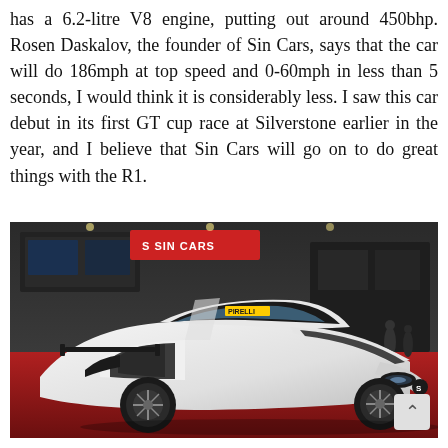has a 6.2-litre V8 engine, putting out around 450bhp. Rosen Daskalov, the founder of Sin Cars, says that the car will do 186mph at top speed and 0-60mph in less than 5 seconds, I would think it is considerably less. I saw this car debut in its first GT cup race at Silverstone earlier in the year, and I believe that Sin Cars will go on to do great things with the R1.
[Figure (photo): A white and black Sin Cars R1 supercar on display at an indoor motor show, parked on a red carpet floor. The Sin Cars branded banner is visible in the background. The car has open scissor-style doors, carbon fibre accents, and large alloy wheels.]